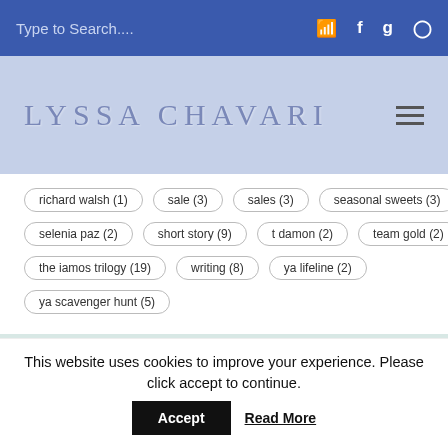Type to Search...
LYSSA CHAVARI
richard walsh (1)
sale (3)
sales (3)
seasonal sweets (3)
selenia paz (2)
short story (9)
t damon (2)
team gold (2)
the iamos trilogy (19)
writing (8)
ya lifeline (2)
ya scavenger hunt (5)
[Figure (photo): Decorative banner with cherry blossoms (pink flowers on dark branches) and birds on a light blue/teal background, with what appears to be hands in the scene]
This website uses cookies to improve your experience. Please click accept to continue.
Accept
Read More